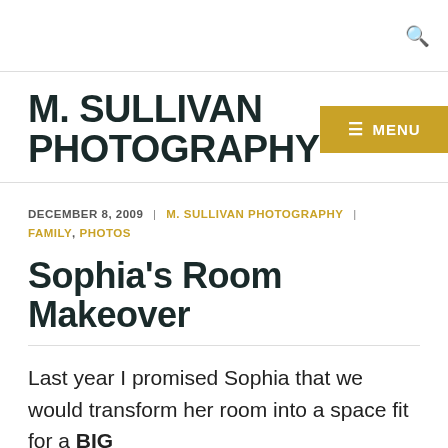M. SULLIVAN PHOTOGRAPHY
DECEMBER 8, 2009 | M. SULLIVAN PHOTOGRAPHY | FAMILY, PHOTOS
Sophia's Room Makeover
Last year I promised Sophia that we would transform her room into a space fit for a BIG